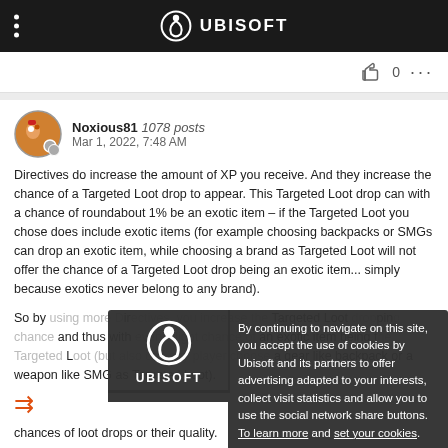UBISOFT
Noxious81 1078 posts
Mar 1, 2022, 7:48 AM
Directives do increase the amount of XP you receive. And they increase the chance of a Targeted Loot drop to appear. This Targeted Loot drop can with a chance of roundabout 1% be an exotic item – if the Targeted Loot you chose does include exotic items (for example choosing backpacks or SMGs can drop an exotic item, while choosing a brand as Targeted Loot will not offer the chance of a Targeted Loot drop being an exotic item... simply because exotics never belong to any brand).
So by using more Directives, you increase the Targeted Loot dropping chance and thus with every slight chance of an exotic item being the Targeted Loot (but also can any player choose a gear like backpack or a weapon like SMG as Targeted Loot).
By continuing to navigate on this site, you accept the use of cookies by Ubisoft and its partners to offer advertising adapted to your interests, collect visit statistics and allow you to use the social network share buttons. To learn more and set your cookies.
tives do not interfere with the general loot pool and the chances of loot drops or their quality.